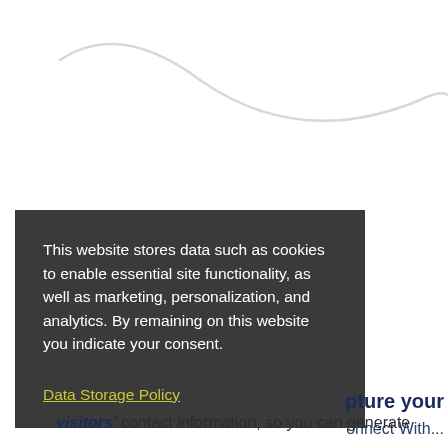[Figure (illustration): Decorative light gray wave/curve line on white background at the top of the page]
This website stores data such as cookies to enable essential site functionality, as well as marketing, personalization, and analytics. By remaining on this website you indicate your consent.
Data Storage Policy
onnect With...
pture your
visitors' contact information, so you can generate